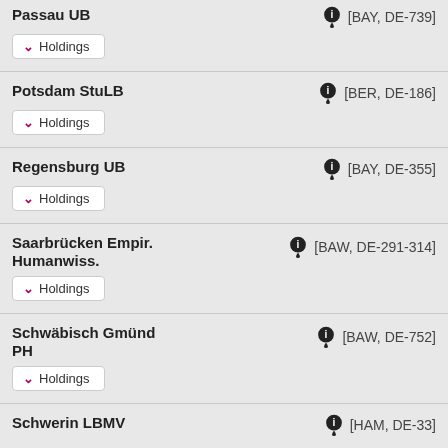Passau UB [BAY, DE-739] Holdings
Potsdam StuLB [BER, DE-186] Holdings
Regensburg UB [BAY, DE-355] Holdings
Saarbrücken Empir. Humanwiss. [BAW, DE-291-314] Holdings
Schwäbisch Gmünd PH [BAW, DE-752] Holdings
Schwerin LBMV [HAM, DE-33]